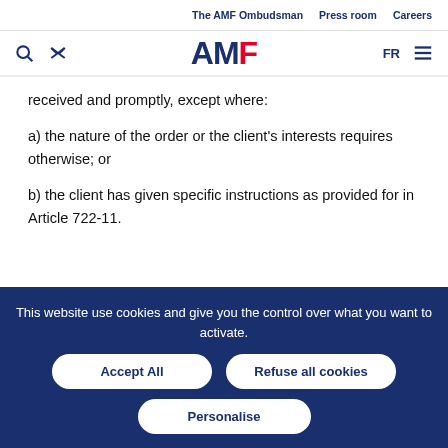The AMF Ombudsman   Press room   Careers
[Figure (logo): AMF logo with search and tools icons, FR language selector and hamburger menu]
received and promptly, except where:
a) the nature of the order or the client's interests requires otherwise; or
b) the client has given specific instructions as provided for in Article 722-11.
This website use cookies and give you the control over what you want to activate.